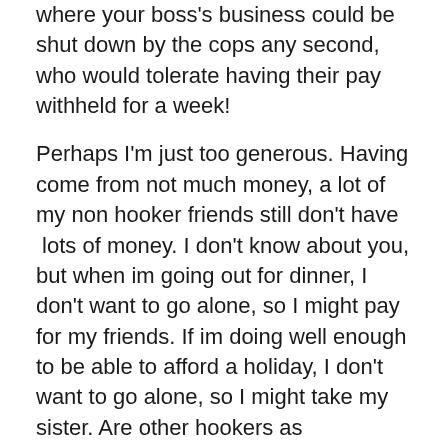where your boss's business could be shut down by the cops any second, who would tolerate having their pay withheld for a week!
Perhaps I'm just too generous. Having come from not much money, a lot of my non hooker friends still don't have  lots of money. I don't know about you, but when im going out for dinner, I don't want to go alone, so I might pay for my friends. If im doing well enough to be able to afford a holiday, I don't want to go alone, so I might take my sister. Are other hookers as generous?
On the other hand there have been times when I led a double life, no one knew that I was a sex worker and so I almost had to be careful to not have too much money. There was never any  pressure or expectation for me to be ready for home ownership when I was meant to be making